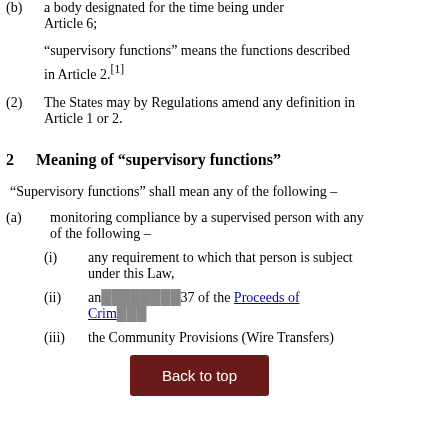(b) a body designated for the time being under Article 6;
“supervisory functions” means the functions described in Article 2.[1]
(2) The States may by Regulations amend any definition in Article 1 or 2.
2 Meaning of “supervisory functions”
“Supervisory functions” shall mean any of the following –
(a) monitoring compliance by a supervised person with any of the following –
(i) any requirement to which that person is subject under this Law,
(ii) an[...] 37 of the Proceeds of Crim[...]
(iii) the Community Provisions (Wire Transfers)